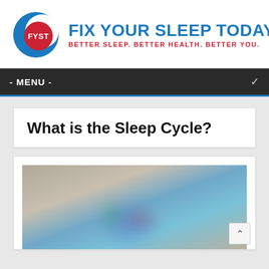[Figure (logo): Fix Your Sleep Today logo: blue crescent moon shape with red circle labeled FYST, beside bold blue text 'FIX YOUR SLEEP TODAY!' and red subtitle 'BETTER SLEEP. BETTER HEALTH. BETTER YOU.']
- MENU -
What is the Sleep Cycle?
[Figure (photo): Blurred photograph showing what appears to be colorful objects on a light background, image is out of focus]